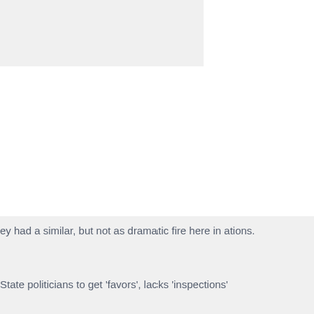#7
ey had a similar, but not as dramatic fire here in ations.
State politicians to get 'favors', lacks 'inspections'
dards.
uilding materials used and multi-million dollar insurance companies are jumping on board
n companies with various names that operated in the same company !
any that is involved with the fire in the UK overnight
up money if breaches have occurred and buildings
nce on their highrise complex buildings before the